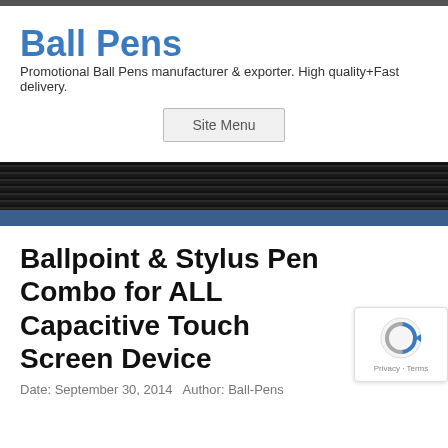Ball Pens
Promotional Ball Pens manufacturer & exporter. High quality+Fast delivery.
Site Menu
[Figure (other): Dark striped navigation bar with blue accent bar at bottom]
Ballpoint & Stylus Pen Combo for ALL Capacitive Touch Screen Device
Date: September 30, 2014   Author: Ball-Pens